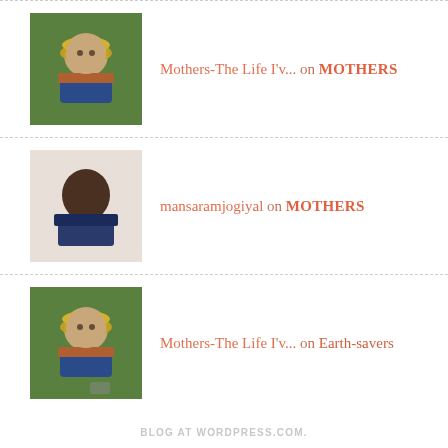Mothers-The Life I'v... on MOTHERS
mansaramjogiyal on MOTHERS
Mothers-The Life I'v... on Earth-savers
We are not miles away!
BLOG AT WORDPRESS.COM.